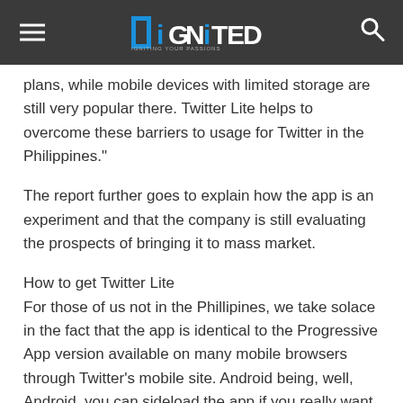DiGNiTED
plans, while mobile devices with limited storage are still very popular there. Twitter Lite helps to overcome these barriers to usage for Twitter in the Philippines."
The report further goes to explain how the app is an experiment and that the company is still evaluating the prospects of bringing it to mass market.
How to get Twitter Lite
For those of us not in the Phillipines, we take solace in the fact that the app is identical to the Progressive App version available on many mobile browsers through Twitter's mobile site. Android being, well, Android, you can sideload the app if you really want it. Head on to APKMirror here and grab yourself the apk and install it